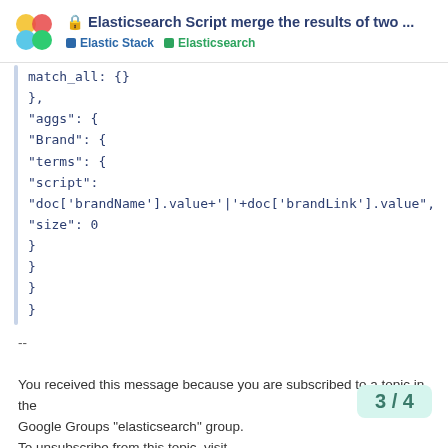🔒 Elasticsearch Script merge the results of two ... | Elastic Stack | Elasticsearch
match_all: {}
},
"aggs": {
"Brand": {
"terms": {
"script":
"doc['brandName'].value+'|'+doc['brandLink'].value",
"size": 0
}
}
}
}
--

You received this message because you are subscribed to a topic in the
Google Groups "elasticsearch" group.
To unsubscribe from this topic, visit
https://groups.google.com/d/topic/ela...
YNVmA/unsubscribe.
3 / 4